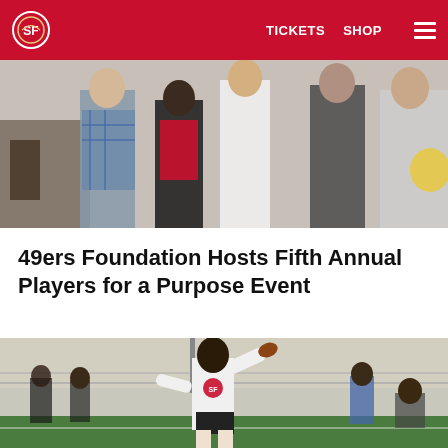49ers — TICKETS  SHOP  [menu]
[Figure (photo): Crowd of people at an outdoor event, partial torsos visible, one person in a red outfit and another in a plaid shirt]
49ers Foundation Hosts Fifth Annual Players for a Purpose Event
[Figure (photo): A young athlete wearing a white 49ers shirt throwing a football on a field, with other participants in the background]